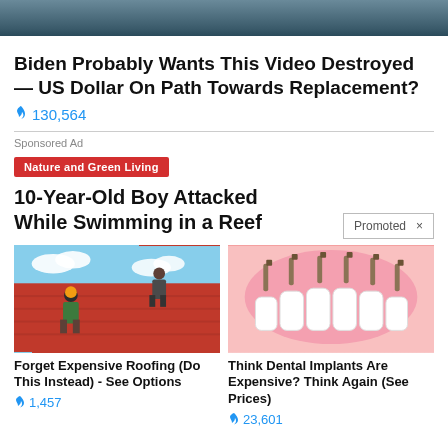[Figure (photo): Dark blurred top image banner]
Biden Probably Wants This Video Destroyed — US Dollar On Path Towards Replacement?
🔥 130,564
Sponsored Ad
Nature and Green Living
10-Year-Old Boy Attacked While Swimming in a Reef
Promoted ×
[Figure (photo): Workers on a red roof doing roofing work]
[Figure (illustration): Dental implants illustration showing teeth with implant posts]
Forget Expensive Roofing (Do This Instead) - See Options
🔥 1,457
Think Dental Implants Are Expensive? Think Again (See Prices)
🔥 23,601